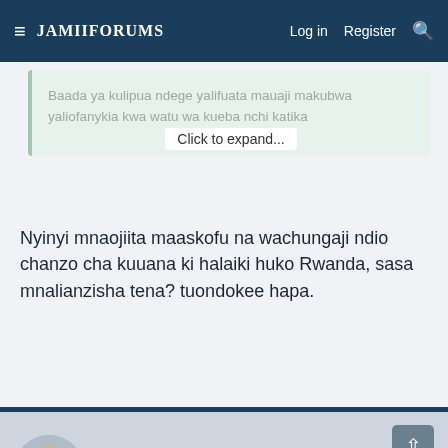JamiiForums   Log in   Register
Baada ya kulipua ndege yalifuata mauaji makubwa yaliofanykia kwa watu wa kueba nchi katika
Click to expand...
Nyinyi mnaojiita maaskofu na wachungaji ndio chanzo cha kuuana ki halaiki huko Rwanda, sasa mnalianzisha tena? tuondokee hapa.
Mwita25
JF-Expert Member
[Figure (screenshot): Twiga Miles advertisement banner - Air Tanzania loyalty program ad with blue background and giraffe imagery]